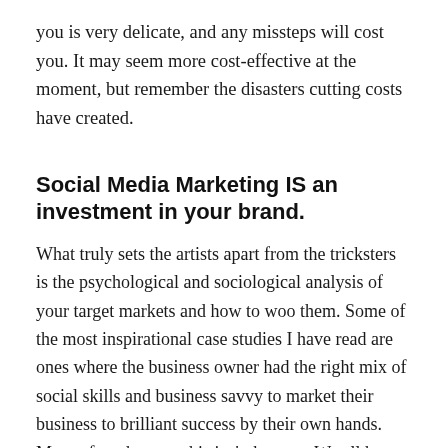you is very delicate, and any missteps will cost you. It may seem more cost-effective at the moment, but remember the disasters cutting costs have created.
Social Media Marketing IS an investment in your brand.
What truly sets the artists apart from the tricksters is the psychological and sociological analysis of your target markets and how to woo them. Some of the most inspirational case studies I have read are ones where the business owner had the right mix of social skills and business savvy to market their business to brilliant success by their own hands. More often than not this isn't the case. We all have our skill sets, and sometimes branding and content aren't our cup of tea. There is no fault for it, the only challenge is whether the decisions